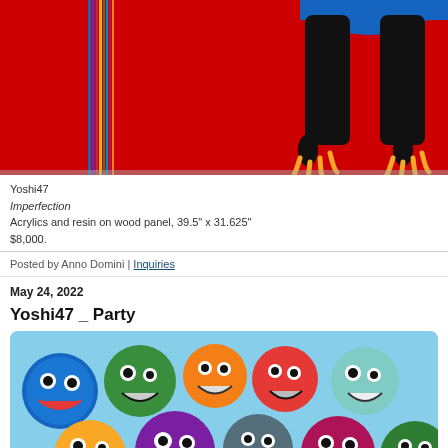[Figure (photo): Partial view of an artwork on red background showing black monster legs/claws with yellow claws and blue fur at top, with vertical rainbow stripes on the left side. This is the bottom portion of a diptych painting.]
Yoshi47
Imperfection
Acrylics and resin on wood panel, 39.5" x 31.625"
$8,000.
Posted by Anno Domini | Inquiries
May 24, 2022
Yoshi47 _ Party
[Figure (photo): Colorful artwork showing a crowd of cartoon monster faces with big eyes and toothy grins in various colors including blue, green, orange, yellow, purple, red, pink, and teal against a light blue background.]